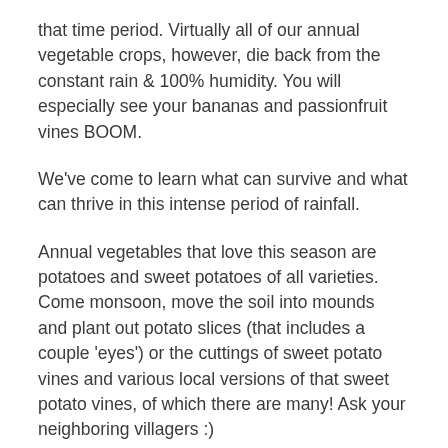that time period. Virtually all of our annual vegetable crops, however, die back from the constant rain & 100% humidity. You will especially see your bananas and passionfruit vines BOOM.
We've come to learn what can survive and what can thrive in this intense period of rainfall.
Annual vegetables that love this season are potatoes and sweet potatoes of all varieties. Come monsoon, move the soil into mounds and plant out potato slices (that includes a couple 'eyes') or the cuttings of sweet potato vines and various local versions of that sweet potato vines, of which there are many! Ask your neighboring villagers :)